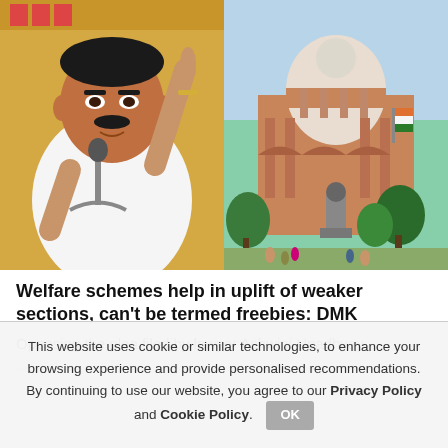[Figure (photo): Two photos side by side: left shows a politician (DMK leader) pointing finger upward at a microphone; right shows the Supreme Court of India building with dome and statue in foreground.]
Welfare schemes help in uplift of weaker sections, can't be termed freebies: DMK
Opposing the plea filed by lawyer Ashwini Upadhyay seeking action against political parties for promising...
This website uses cookie or similar technologies, to enhance your browsing experience and provide personalised recommendations. By continuing to use our website, you agree to our Privacy Policy and Cookie Policy.